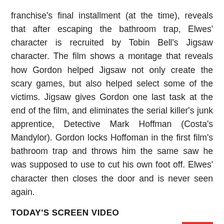franchise's final installment (at the time), reveals that after escaping the bathroom trap, Elwes' character is recruited by Tobin Bell's Jigsaw character. The film shows a montage that reveals how Gordon helped Jigsaw not only create the scary games, but also helped select some of the victims. Jigsaw gives Gordon one last task at the end of the film, and eliminates the serial killer's junk apprentice, Detective Mark Hoffman (Costa's Mandylor). Gordon locks Hoffoman in the first film's bathroom trap and throws him the same saw he was supposed to use to cut his own foot off. Elwes' character then closes the door and is never seen again.
TODAY'S SCREEN VIDEO
Related: Saw Theory: Why Amanda's Traps Were Impossible to Beat